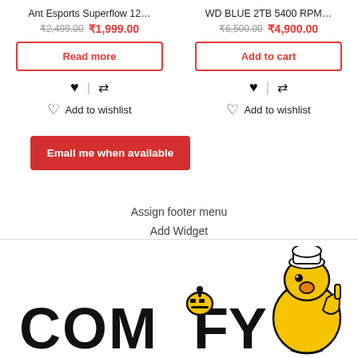Ant Esports Superflow 12…
₹2,499.00  ₹1,999.00
Read more
Add to wishlist
Email me when available
WD BLUE 2TB 5400 RPM…
₹6,500.00  ₹4,900.00
Add to cart
Add to wishlist
Assign footer menu
Add Widget
[Figure (logo): Comify logo with stylized robot/bird mascot in yellow and black]